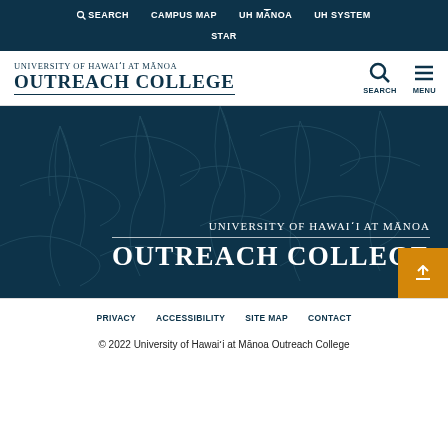SEARCH   CAMPUS MAP   UH MĀNOA   UH SYSTEM   STAR
[Figure (logo): University of Hawai'i at Mānoa Outreach College logo with search and menu icons]
[Figure (illustration): Dark teal hero banner with leaf/taro pattern and University of Hawai'i at Mānoa Outreach College text in white]
PRIVACY   ACCESSIBILITY   SITE MAP   CONTACT
© 2022 University of Hawai'i at Mānoa Outreach College